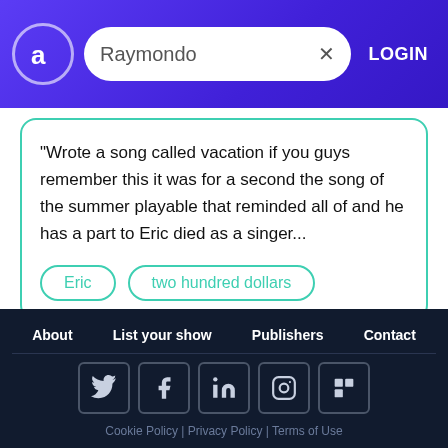Raymondo | LOGIN
"Wrote a song called vacation if you guys remember this it was for a second the song of the summer playable that reminded all of and he has a part to Eric died as a singer...
Eric
two hundred dollars
About | List your show | Publishers | Contact | Cookie Policy | Privacy Policy | Terms of Use